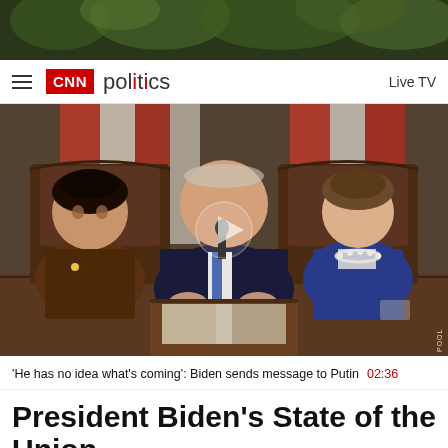[Figure (photo): Dark top banner with blurred green/nature background]
CNN politics   Live TV
[Figure (screenshot): Video screenshot of President Biden delivering State of the Union address at podium with Kamala Harris and Nancy Pelosi seated behind him, American flag backdrop. Play button overlay visible. POOL watermark in upper right corner.]
'He has no idea what's coming': Biden sends message to Putin  02:36
President Biden's State of the Union